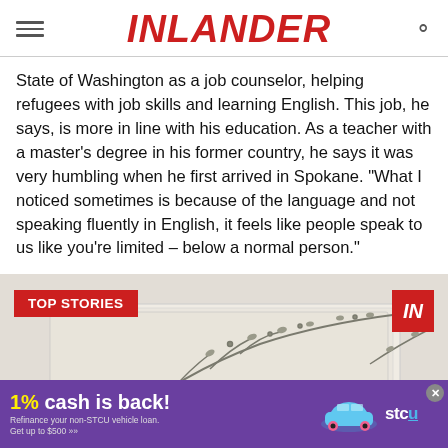INLANDER
State of Washington as a job counselor, helping refugees with job skills and learning English. This job, he says, is more in line with his education. As a teacher with a master's degree in his former country, he says it was very humbling when he first arrived in Spokane. "What I noticed sometimes is because of the language and not speaking fluently in English, it feels like people speak to us like you're limited – below a normal person."
[Figure (photo): Newspaper or paper pages with botanical/branch illustration overlay, with a red 'TOP STORIES' badge on the left and a red 'IN' logo badge on the right]
1% cash is back! Refinance your non-STCU vehicle loan. Get up to $500 >> stcu